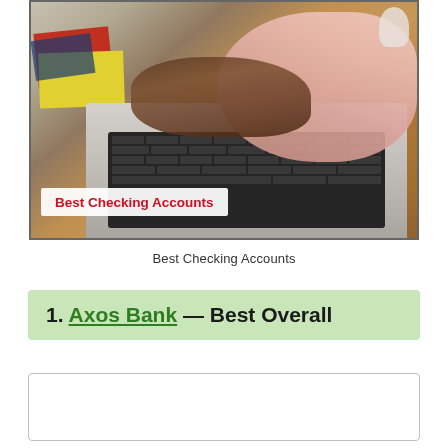[Figure (photo): Person in pink sweater typing on a laptop computer at a desk with colorful books and papers. Overlay text reads 'Best Checking Accounts' in red bold font on white background.]
Best Checking Accounts
1. Axos Bank — Best Overall